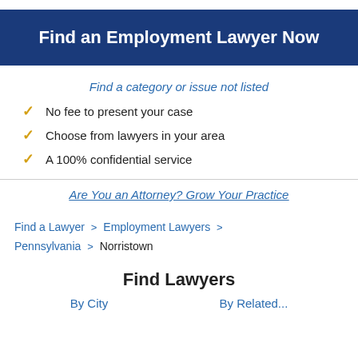Find an Employment Lawyer Now
Find a category or issue not listed
No fee to present your case
Choose from lawyers in your area
A 100% confidential service
Are You an Attorney? Grow Your Practice
Find a Lawyer > Employment Lawyers > Pennsylvania > Norristown
Find Lawyers
By City   By Related...